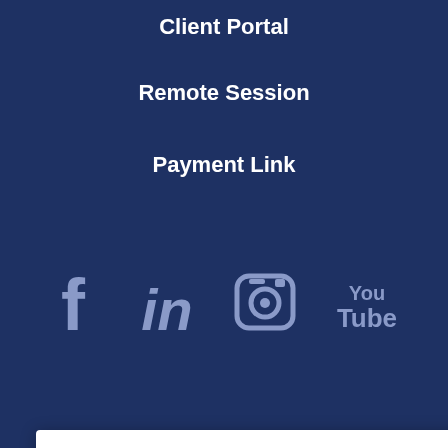Client Portal
Remote Session
Payment Link
[Figure (infographic): Social media icons: Facebook (f), LinkedIn (in), Instagram (camera), YouTube (You Tube) on dark blue background]
We use cookies on our website to give you the most relevant experience by remembering your preferences and repeat visits. By clicking "Accept All", you consent to the use of ALL the cookies. However, you may visit "Cookie Settings" to provide a controlled consent.
Cookie Settings   Accept All
served. Privacy
| (317) 296-8134
6825 | (260) 333-
| (317) 386-7021
, IN 47713 | (812)
| (317) 359-5507